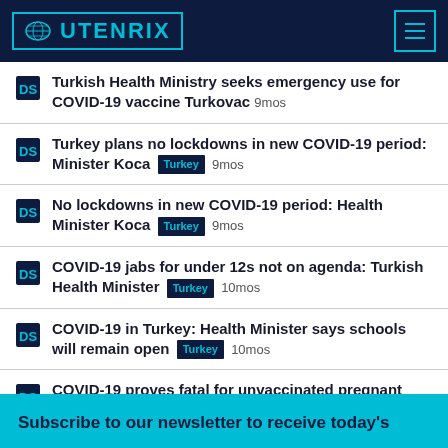UTENRIX
Turkish Health Ministry seeks emergency use for COVID-19 vaccine Turkovac 9mos
Turkey plans no lockdowns in new COVID-19 period: Minister Koca [Turkey] 9mos
No lockdowns in new COVID-19 period: Health Minister Koca [Turkey] 9mos
COVID-19 jabs for under 12s not on agenda: Turkish Health Minister [Turkey] 10mos
COVID-19 in Turkey: Health Minister says schools will remain open [Turkey] 10mos
COVID-19 proves fatal for unvaccinated pregnant women in Turkey [Turkey] 10mos
Subscribe to our newsletter to receive today's